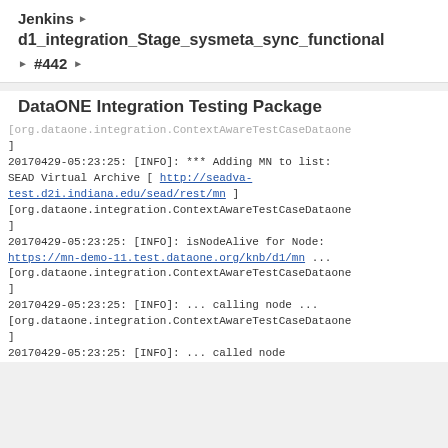Jenkins ▶
d1_integration_Stage_sysmeta_sync_functional
▶ #442 ▶
DataONE Integration Testing Package
[org.dataone.integration.ContextAwareTestCaseDataone]
20170429-05:23:25: [INFO]: *** Adding MN to list: SEAD Virtual Archive [ http://seadva-test.d2i.indiana.edu/sead/rest/mn ]
[org.dataone.integration.ContextAwareTestCaseDataone]
20170429-05:23:25: [INFO]: isNodeAlive for Node: https://mn-demo-11.test.dataone.org/knb/d1/mn ...
[org.dataone.integration.ContextAwareTestCaseDataone]
20170429-05:23:25: [INFO]: ... calling node ...
[org.dataone.integration.ContextAwareTestCaseDataone]
20170429-05:23:25: [INFO]: ... called node